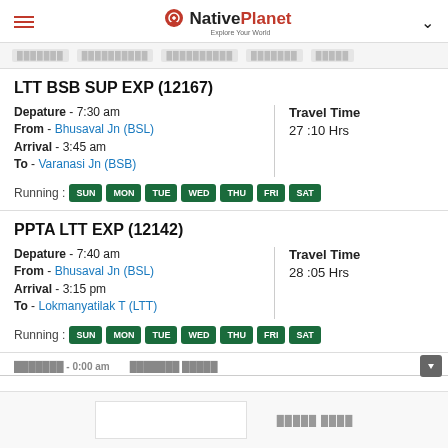NativePlanet — Explore Your World
LTT BSB SUP EXP (12167)
Depature - 7:30 am
From - Bhusaval Jn (BSL)
Arrival - 3:45 am
To - Varanasi Jn (BSB)
Travel Time
27 :10 Hrs
Running : SUN MON TUE WED THU FRI SAT
PPTA LTT EXP (12142)
Depature - 7:40 am
From - Bhusaval Jn (BSL)
Arrival - 3:15 pm
To - Lokmanyatilak T (LTT)
Travel Time
28 :05 Hrs
Running : SUN MON TUE WED THU FRI SAT